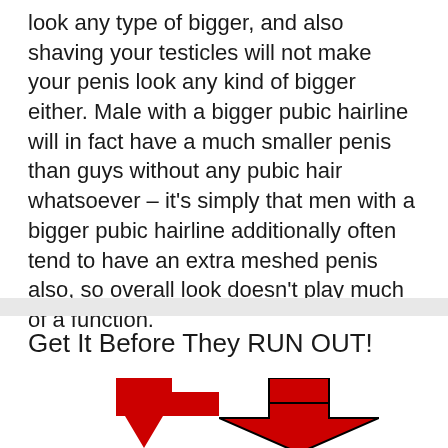look any type of bigger, and also shaving your testicles will not make your penis look any kind of bigger either. Male with a bigger pubic hairline will in fact have a much smaller penis than guys without any pubic hair whatsoever – it's simply that men with a bigger pubic hairline additionally often tend to have an extra meshed penis also, so overall look doesn't play much of a function.
Get It Before They RUN OUT!
[Figure (illustration): A large red downward-pointing arrow]